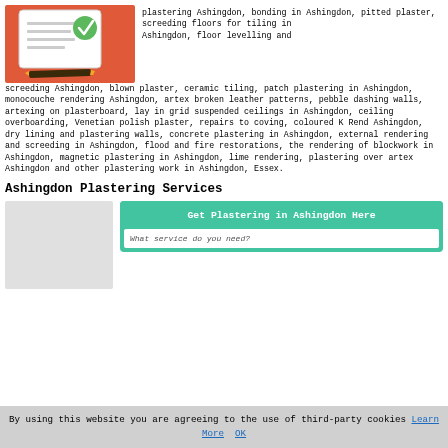[Figure (illustration): Red tablet/clipboard icon with checklist and green checkmark, with a pencil below it]
plastering Ashingdon, bonding in Ashingdon, pitted plaster, screeding floors for tiling in Ashingdon, floor levelling and screeding Ashingdon, blown plaster, ceramic tiling, patch plastering in Ashingdon, monocouche rendering Ashingdon, artex broken leather patterns, pebble dashing walls, artexing on plasterboard, lay in grid suspended ceilings in Ashingdon, ceiling overboarding, Venetian polish plaster, repairs to coving, coloured K Rend Ashingdon, dry lining and plastering walls, concrete plastering in Ashingdon, external rendering and screeding in Ashingdon, flood and fire restorations, the rendering of blockwork in Ashingdon, magnetic plastering in Ashingdon, lime rendering, plastering over artex Ashingdon and other plastering work in Ashingdon, Essex.
Ashingdon Plastering Services
[Figure (illustration): Side image placeholder (grey box)]
Get Plastering in Ashingdon Here
What service do you need?
By using this website you are agreeing to the use of third-party cookies Learn More OK